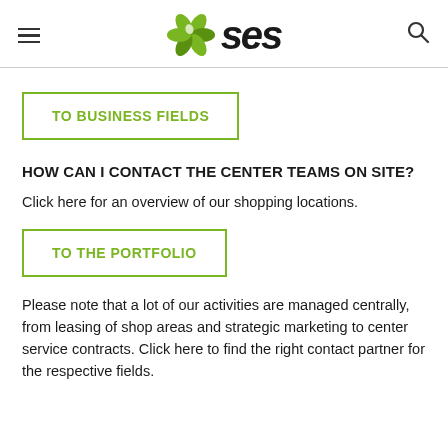SES
TO BUSINESS FIELDS
HOW CAN I CONTACT THE CENTER TEAMS ON SITE?
Click here for an overview of our shopping locations.
TO THE PORTFOLIO
Please note that a lot of our activities are managed centrally, from leasing of shop areas and strategic marketing to center service contracts. Click here to find the right contact partner for the respective fields.